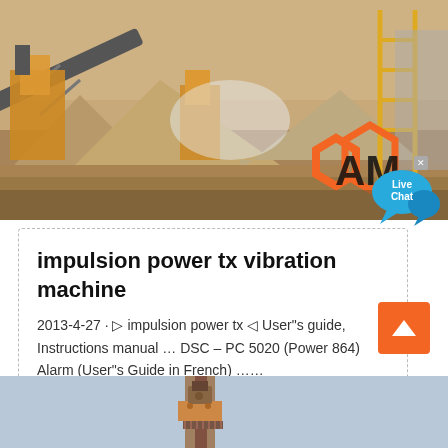[Figure (photo): Industrial mining/crushing site with heavy machinery, conveyor belts, gravel piles, and yellow equipment. AMC logo watermark visible in lower right.]
impulsion power tx vibration machine
2013-4-27 · impulsion power tx User"s guide, Instructions manual … DSC – PC 5020 (Power 864) Alarm (User"s Guide in French) ……
[Figure (photo): Bottom strip showing partial view of industrial equipment on a light blue background.]